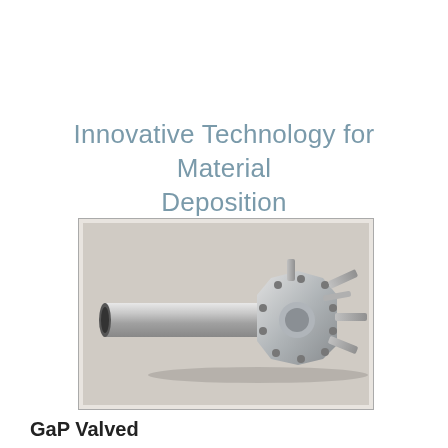Innovative Technology for Material Deposition
[Figure (photo): Photograph of a GaP Valved effusion cell or material deposition nozzle — a metallic cylindrical tube with a multi-port flange head fitted with several protruding nozzles and fittings, on a light grey background.]
GaP Valved